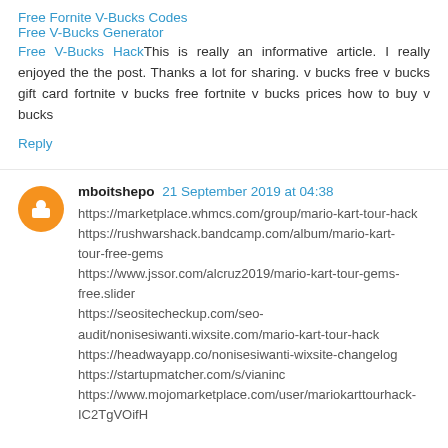Free Fornite V-Bucks Codes
Free V-Bucks Generator
Free V-Bucks HackThis is really an informative article. I really enjoyed the the post. Thanks a lot for sharing. v bucks free v bucks gift card fortnite v bucks free fortnite v bucks prices how to buy v bucks
Reply
mboitshepo  21 September 2019 at 04:38
https://marketplace.whmcs.com/group/mario-kart-tour-hack
https://rushwarshack.bandcamp.com/album/mario-kart-tour-free-gems
https://www.jssor.com/alcruz2019/mario-kart-tour-gems-free.slider
https://seositecheckup.com/seo-audit/nonisesiwanti.wixsite.com/mario-kart-tour-hack
https://headwayapp.co/nonisesiwanti-wixsite-changelog
https://startupmatcher.com/s/vianinc
https://www.mojomarketplace.com/user/mariokarttourhack-IC2TgVOifH